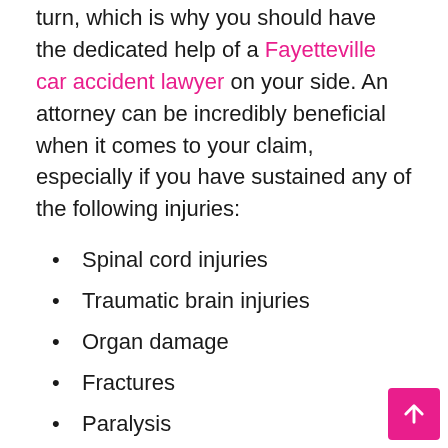turn, which is why you should have the dedicated help of a Fayetteville car accident lawyer on your side. An attorney can be incredibly beneficial when it comes to your claim, especially if you have sustained any of the following injuries:
Spinal cord injuries
Traumatic brain injuries
Organ damage
Fractures
Paralysis
These injuries land victims in the hospital for a period of time and cause them to miss out on time at work. If you have been hurt in a serious collision, you should have the assistance of a Fayetteville car accident lawyer on your side.